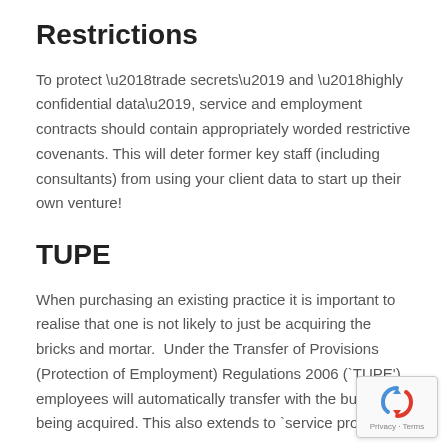Restrictions
To protect ‘trade secrets’ and ‘highly confidential data’, service and employment contracts should contain appropriately worded restrictive covenants. This will deter former key staff (including consultants) from using your client data to start up their own venture!
TUPE
When purchasing an existing practice it is important to realise that one is not likely to just be acquiring the bricks and mortar.  Under the Transfer of Provisions (Protection of Employment) Regulations 2006 (`TUPE’) employees will automatically transfer with the business being acquired. This also extends to `service provisi…